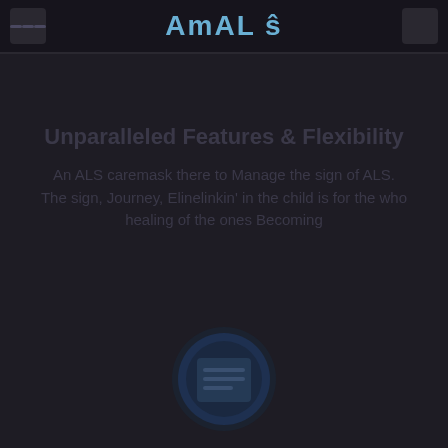AmAL
Unparalleled Features & Flexibility
An ALS caremask there to Manage the sign of ALS. The sign, Journey, Elinelinkin' in the child is for the who healing of the ones Becoming
[Figure (illustration): A dark circular icon with a document/text lines symbol in the center, rendered in dark teal/blue tones on a very dark background]